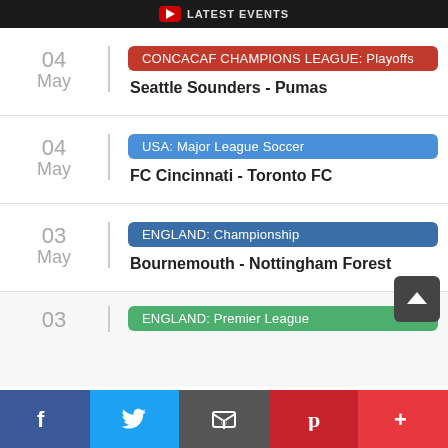LATEST EVENTS
04 May | CONCACAF CHAMPIONS LEAGUE: Playoffs | Seattle Sounders - Pumas
04 May | USA: Major League Soccer | FC Cincinnati - Toronto FC
03 May | ENGLAND: Championship | Bournemouth - Nottingham Forest
03 May | ENGLAND: Premier League (partial)